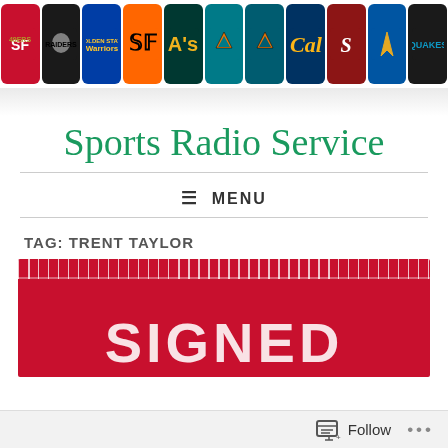[Figure (illustration): Row of sports team logo tiles: 49ers, Raiders, Warriors, Giants, A's, Sharks (x2), Cal, Stanford, SJSU Spartans, San Jose Earthquakes with reflection below]
Sports Radio Service
≡ MENU
TAG: TRENT TAYLOR
[Figure (photo): Red background image with white large text reading SIGNED, with ruler tick marks along the top edge and a partial football helmet visible at the bottom right]